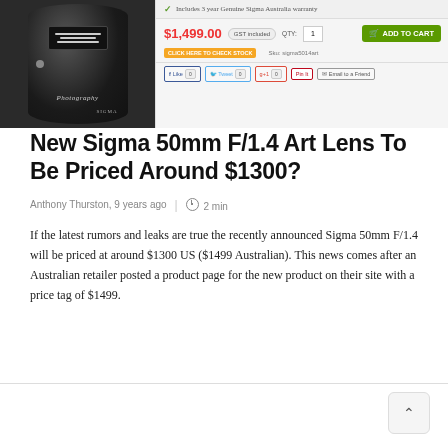[Figure (screenshot): Screenshot of an Australian photography retailer product page showing a Sigma lens product listing with price $1,499.00 AUD, GST included, Add to Cart button, stock check link, SKU sigma5014art, and social sharing buttons (Like, Tweet, G+1, Pin It, Email to a Friend). The product image shows the Sigma lens in black with 'Photography' branding visible.]
New Sigma 50mm F/1.4 Art Lens To Be Priced Around $1300?
Anthony Thurston, 9 years ago  |  2 min
If the latest rumors and leaks are true the recently announced Sigma 50mm F/1.4 will be priced at around $1300 US ($1499 Australian). This news comes after an Australian retailer posted a product page for the new product on their site with a price tag of $1499.